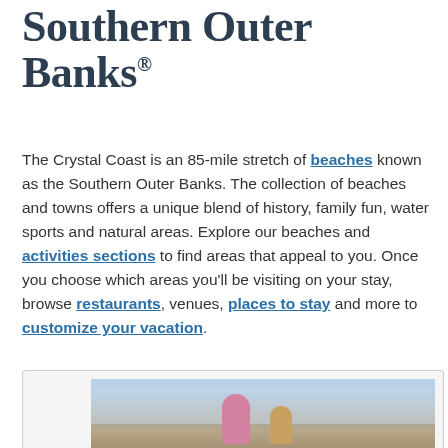Southern Outer Banks®
The Crystal Coast is an 85-mile stretch of beaches known as the Southern Outer Banks. The collection of beaches and towns offers a unique blend of history, family fun, water sports and natural areas. Explore our beaches and activities sections to find areas that appeal to you. Once you choose which areas you'll be visiting on your stay, browse restaurants, venues, places to stay and more to customize your vacation.
[Figure (photo): Two children running on the beach under a blue sky]